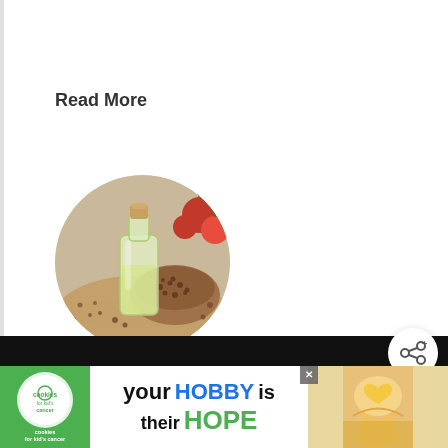Read More
[Figure (photo): Circular cropped photo of a glass bottle of oil with a cork stopper, surrounded by seeds and red berries/peppercorns in a wooden bowl — grapeseed oil illustration]
The 5 Best Substitutes for Grapeseed Oil
[Figure (screenshot): Share button (social share icon with plus sign) in white circular shadow card]
[Figure (screenshot): What's Next card: thumbnail of dark reddish content, label 'WHAT'S NEXT →', title 'The 4 Best Substitutes f...']
[Figure (screenshot): Advertisement banner: Cookies for Kid's Cancer logo on green background, text 'your HOBBY is their HOPE', photo of hands holding heart-shaped cookie, close button X, right side shows partial text 'arning.']